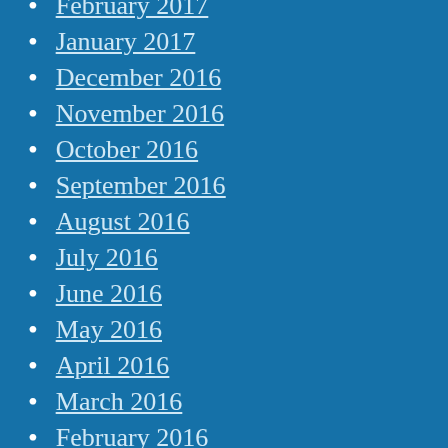February 2017
January 2017
December 2016
November 2016
October 2016
September 2016
August 2016
July 2016
June 2016
May 2016
April 2016
March 2016
February 2016
January 2016
December 2015
November 2015